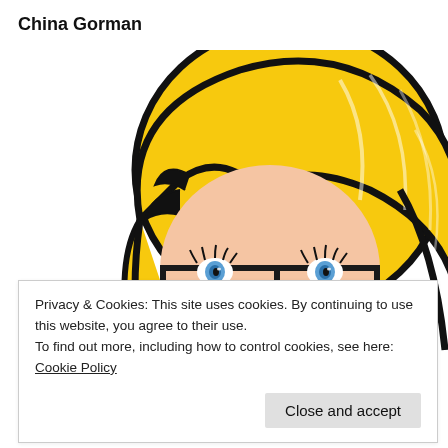China Gorman
[Figure (illustration): Cartoon/comic-style illustration of a blonde woman with glasses, blue eyes, rosy cheeks, and thick black outlines. Her large yellow hair fills most of the upper portion of the image. She is looking slightly downward and the image is cropped so only her face and top of hair are visible.]
Privacy & Cookies: This site uses cookies. By continuing to use this website, you agree to their use.
To find out more, including how to control cookies, see here: Cookie Policy
Close and accept